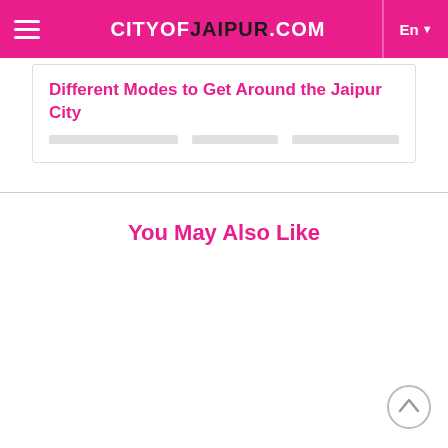CITYOFJAIPUR.COM
Different Modes to Get Around the Jaipur City
You May Also Like